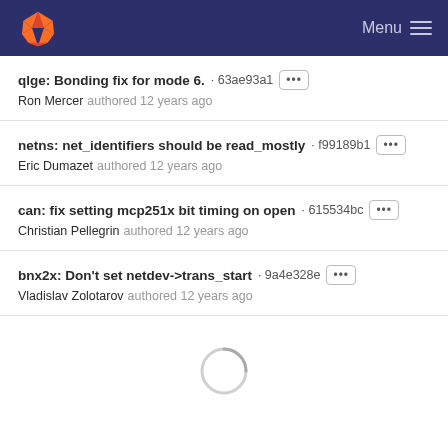GitLab — Menu
qlge: Bonding fix for mode 6. · 63ae93a1
Ron Mercer authored 12 years ago
netns: net_identifiers should be read_mostly · f99189b1
Eric Dumazet authored 12 years ago
can: fix setting mcp251x bit timing on open · 615534bc
Christian Pellegrin authored 12 years ago
bnx2x: Don't set netdev->trans_start · 9a4e328e
Vladislav Zolotarov authored 12 years ago
[Figure (illustration): Loading spinner / activity indicator circle]